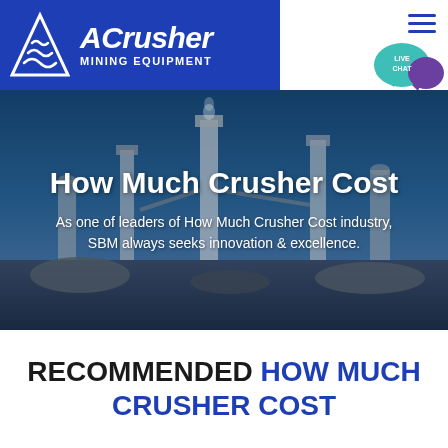[Figure (logo): ACrusher Mining Equipment logo with white wave icon on blue background, company name in italic white bold text]
[Figure (photo): Industrial mining/crushing plant facility with large equipment, silos, and conveyors against a blue sky, with dark overlay]
How Much Crusher Cost
As one of leaders of How Much Crusher Cost industry, SBM always seeks innovation & excellence.
RECOMMENDED HOW MUCH CRUSHER COST